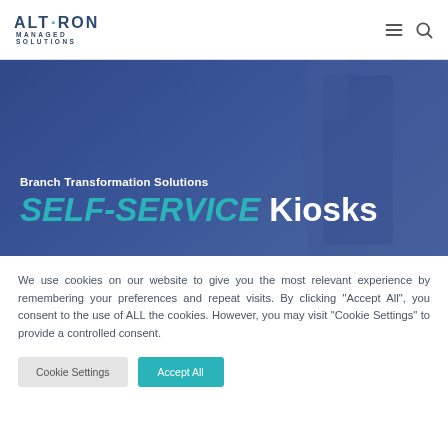ALTRON MANAGED SOLUTIONS
[Figure (screenshot): Hero banner with blue tinted kiosk background image showing Branch Transformation Solutions SELF-SERVICE Kiosks heading]
We use cookies on our website to give you the most relevant experience by remembering your preferences and repeat visits. By clicking "Accept All", you consent to the use of ALL the cookies. However, you may visit "Cookie Settings" to provide a controlled consent.
Cookie Settings | Accept All